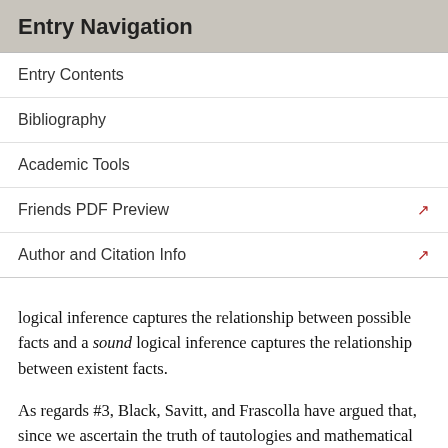Entry Navigation
Entry Contents
Bibliography
Academic Tools
Friends PDF Preview
Author and Citation Info
logical inference captures the relationship between possible facts and a sound logical inference captures the relationship between existent facts.
As regards #3, Black, Savitt, and Frascolla have argued that, since we ascertain the truth of tautologies and mathematical equations without any appeal to “states of affairs” or “facts,” true mathematical equations and tautologies are so analogous that we can “aptly” describe “the philosophy of arithmetic of the Tractatus… as a kind of logicism” (Frascolla, 1994, 37). The rejoinder to this is that the similarity that Frascolla, Black and Savitt